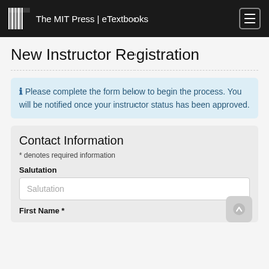The MIT Press | eTextbooks
New Instructor Registration
Please complete the form below to begin the process. You will be notified once your instructor status has been approved.
Contact Information
* denotes required information
Salutation
First Name *